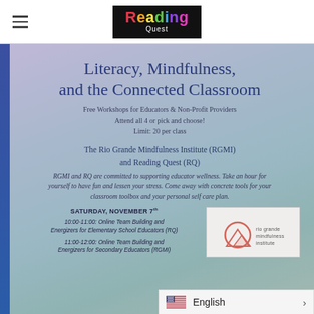Reading Quest (logo)
Literacy, Mindfulness, and the Connected Classroom
Free Workshops for Educators & Non-Profit Providers
Attend all 4 or pick and choose!
Limit: 20 per class
The Rio Grande Mindfulness Institute (RGMI)
and Reading Quest (RQ)
RGMI and RQ are committed to supporting educator wellness. Take an hour for yourself to have fun and lessen your stress. Come away with concrete tools for your classroom toolbox and your personal self care plan.
SATURDAY, NOVEMBER 7th
10:00-11:00: Online Team Building and Energizers for Elementary School Educators (RQ)
11:00-12:00: Online Team Building and Energizers for Secondary Educators (RGMI)
[Figure (logo): Rio Grande Mindfulness Institute logo with circular mountain icon and text]
English (language selector with US flag)